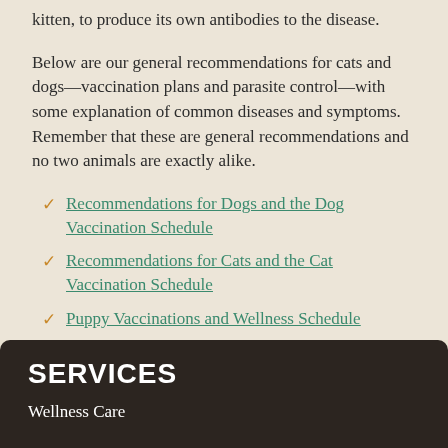kitten, to produce its own antibodies to the disease.
Below are our general recommendations for cats and dogs—vaccination plans and parasite control—with some explanation of common diseases and symptoms. Remember that these are general recommendations and no two animals are exactly alike.
Recommendations for Dogs and the Dog Vaccination Schedule
Recommendations for Cats and the Cat Vaccination Schedule
Puppy Vaccinations and Wellness Schedule
Kitten Vaccinations and Wellness Schedule
SERVICES
Wellness Care